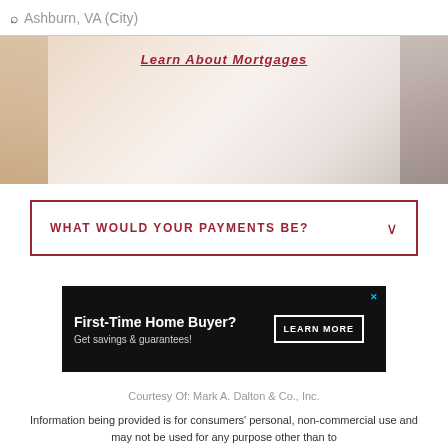Ashburn, VA (City)
[Figure (photo): Hero image with text overlay reading 'Learn About Mortgages' over a background of papers and hands]
WHAT WOULD YOUR PAYMENTS BE?
[Figure (screenshot): Advertisement banner with black background: 'First-Time Home Buyer? Get savings & guarantees!' with a 'LEARN MORE' button]
Courtesy Of: Mark A. Dalton & Co., Inc.
Information being provided is for consumers' personal, non-commercial use and may not be used for any purpose other than to